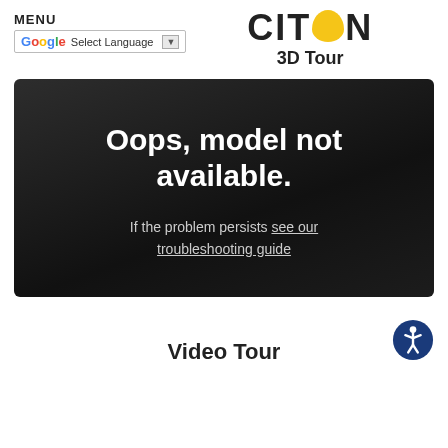MENU
[Figure (screenshot): Google Translate select language dropdown widget]
[Figure (logo): CITRON logo with yellow lemon replacing the O]
3D Tour
[Figure (screenshot): Error screen with dark background showing: Oops, model not available. If the problem persists see our troubleshooting guide]
Video Tour
[Figure (illustration): Accessibility icon - blue circle with white person figure]